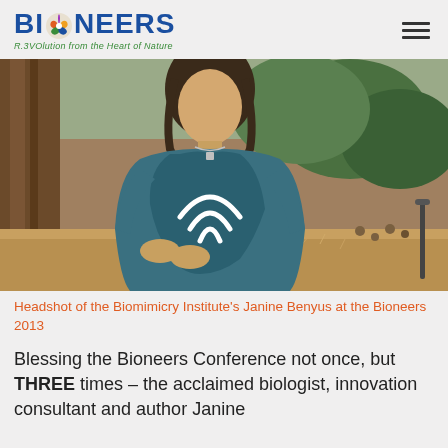BIONEERS — Revolution from the Heart of Nature
[Figure (photo): Headshot of Janine Benyus of the Biomimicry Institute, sitting outdoors in front of a large tree trunk, wearing a blue top, with greenery and dry brush in the background. A wifi/share icon overlay is visible on her chest area.]
Headshot of the Biomimicry Institute's Janine Benyus at the Bioneers 2013
Blessing the Bioneers Conference not once, but THREE times – the acclaimed biologist, innovation consultant and author Janine